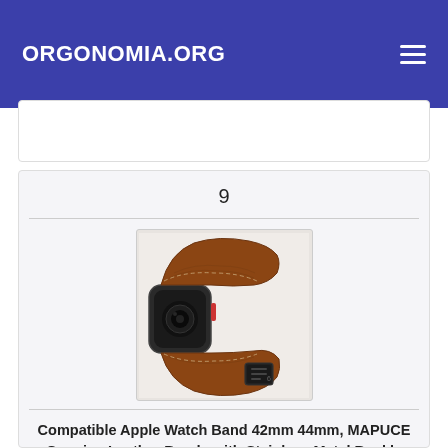ORGONOMIA.ORG
9
[Figure (photo): Brown leather Apple Watch band with stainless steel buckle attachment, shown wrapped in a circular display position against a white background.]
Compatible Apple Watch Band 42mm 44mm, MAPUCE Genuine Leather Bands with Stainless Metal Buckle Replacement Strap Compatible iWatch Series 5 4 3 2 1 with Black